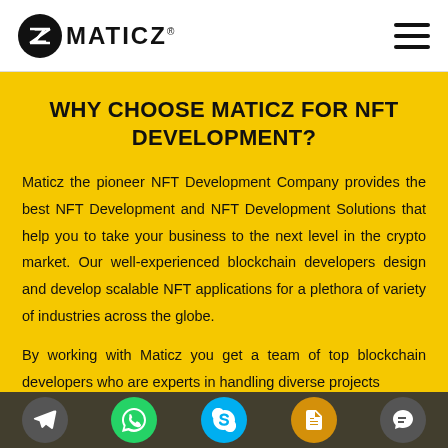[Figure (logo): Maticz logo with circular Z icon and MATICZ text with registered trademark]
WHY CHOOSE MATICZ FOR NFT DEVELOPMENT?
Maticz the pioneer NFT Development Company provides the best NFT Development and NFT Development Solutions that help you to take your business to the next level in the crypto market. Our well-experienced blockchain developers design and develop scalable NFT applications for a plethora of variety of industries across the globe.
By working with Maticz you get a team of top blockchain developers who are experts in handling diverse projects
[Figure (infographic): Bottom navigation bar with social/contact icons: Telegram, WhatsApp, Skype, document/form icon, chat bubble icon]